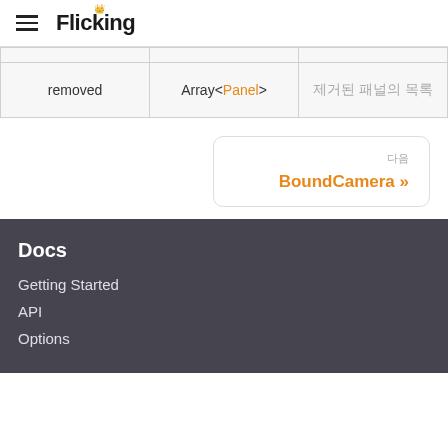Flicking
|  |  |  |
| --- | --- | --- |
| removed | Array<Panel> | 제거된 패널의 목록 |
[Figure (other): Navigation card with label '다음' and link 'BoundCamera »']
Docs
Getting Started
API
Options